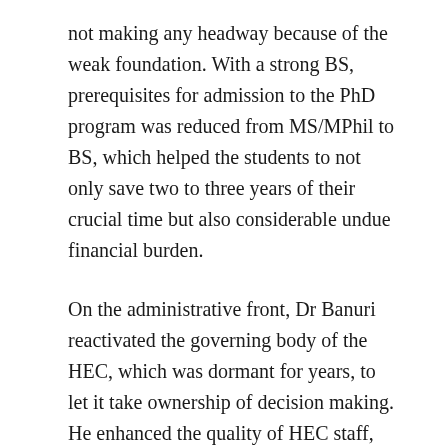not making any headway because of the weak foundation. With a strong BS, prerequisites for admission to the PhD program was reduced from MS/MPhil to BS, which helped the students to not only save two to three years of their crucial time but also considerable undue financial burden.
On the administrative front, Dr Banuri reactivated the governing body of the HEC, which was dormant for years, to let it take ownership of decision making. He enhanced the quality of HEC staff, improved decision-making processes and time lines, and started rolling back HEC's undue interference in universities' internal affairs. This had not only affected the universities' autonomy adversely, but also placed a huge strain on the meagre human resources within the HEC. He advertised dozens of vacant positions and tried to develop a team of highly qualified professionals to make HEC an effective, vibrant and